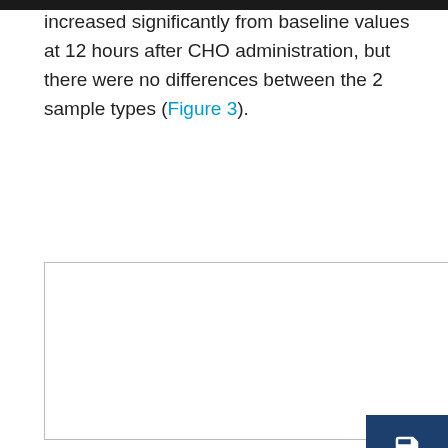increased significantly from baseline values at 12 hours after CHO administration, but there were no differences between the 2 sample types (Figure 3).
[Figure (other): Figure 3 panel placeholder showing a white box with border (figure content partially visible/cut off)]
Figure 3 – Percentage of neutrophil aggregates with platelets from jugular and digital vein blood samples collected at 0 to 20 hours after administration of CHO (corn...